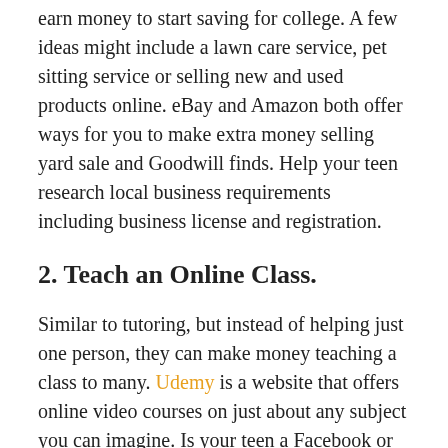earn money to start saving for college. A few ideas might include a lawn care service, pet sitting service or selling new and used products online. eBay and Amazon both offer ways for you to make extra money selling yard sale and Goodwill finds. Help your teen research local business requirements including business license and registration.
2. Teach an Online Class.
Similar to tutoring, but instead of helping just one person, they can make money teaching a class to many. Udemy is a website that offers online video courses on just about any subject you can imagine. Is your teen a Facebook or Instagram guru? Or maybe they know all about building a YouTube channel. They can create their own video course to teach other people what they know and